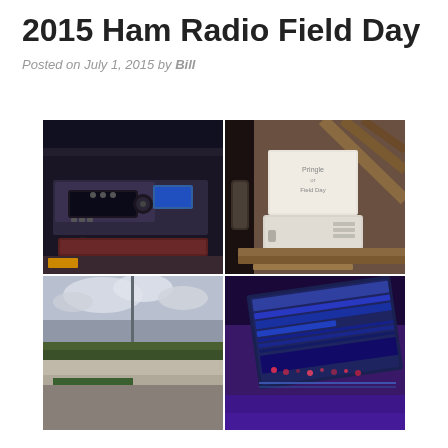2015 Ham Radio Field Day
Posted on July 1, 2015 by Bill
[Figure (photo): A 2x2 collage of four photos from the 2015 Ham Radio Field Day. Top-left: ham radio transceiver equipment in a dark room with a microphone and various controls. Top-right: a white case and whiteboard in a workshop area. Bottom-left: an antenna mast against a cloudy sky with a parking lot and green-canopied building below. Bottom-right: a laptop screen with a purple-tinted radio logging software display.]